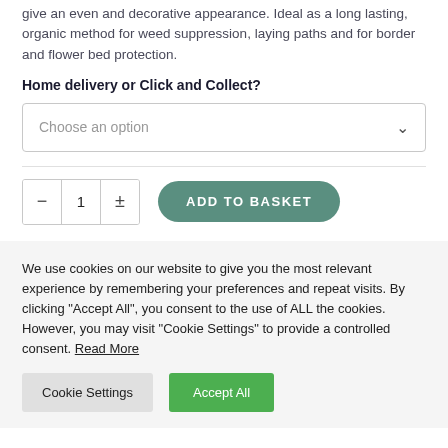give an even and decorative appearance. Ideal as a long lasting, organic method for weed suppression, laying paths and for border and flower bed protection.
Home delivery or Click and Collect?
Choose an option (dropdown)
- 1 + ADD TO BASKET
We use cookies on our website to give you the most relevant experience by remembering your preferences and repeat visits. By clicking "Accept All", you consent to the use of ALL the cookies. However, you may visit "Cookie Settings" to provide a controlled consent. Read More
Cookie Settings | Accept All